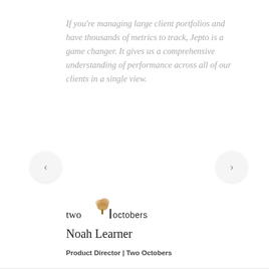If you're managing large client portfolios and have thousands of metrics to track, Jepto is a game changer. It gives us a comprehensive understanding of performance across all of our clients in a single view.
[Figure (logo): Two Octobers logo with stylized tree graphic and text 'two octobers' in serif/sans-serif mix]
Noah Learner
Product Director | Two Octobers